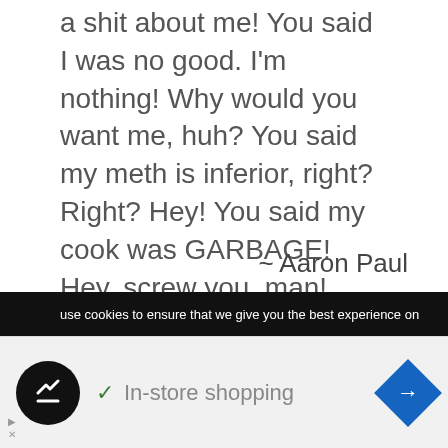a shit about me! You said I was no good. I'm nothing! Why would you want me, huh? You said my meth is inferior, right? Right? Hey! You said my cook was GARBAGE! Hey, screw you, man! Screw you!"
~ Aaron Paul
“So no matter what I do Hooray for me
use cookies to ensure that we give you the best experience on
In-store shopping